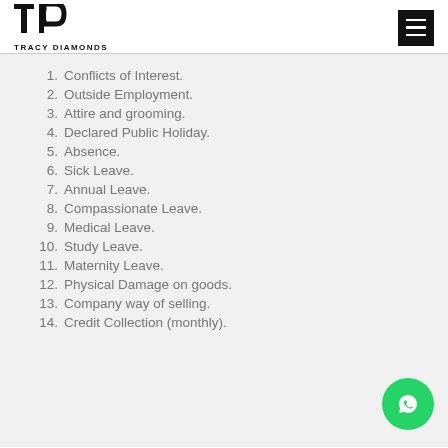Tracy Diamonds
1. Conflicts of Interest.
2. Outside Employment.
3. Attire and grooming.
4. Declared Public Holiday.
5. Absence.
6. Sick Leave.
7. Annual Leave.
8. Compassionate Leave.
9. Medical Leave.
10. Study Leave.
11. Maternity Leave.
12. Physical Damage on goods.
13. Company way of selling.
14. Credit Collection (monthly).